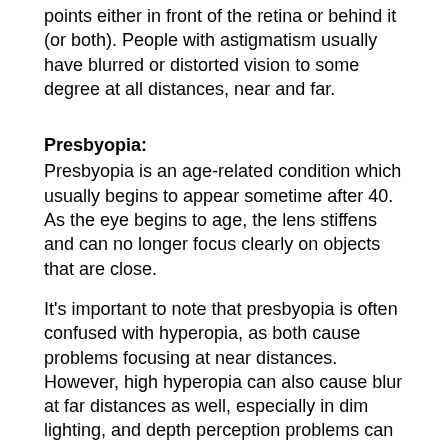points either in front of the retina or behind it (or both). People with astigmatism usually have blurred or distorted vision to some degree at all distances, near and far.
Presbyopia:
Presbyopia is an age-related condition which usually begins to appear sometime after 40.  As the eye begins to age, the lens stiffens and can no longer focus clearly on objects that are close.
It's important to note that presbyopia is often confused with hyperopia, as both cause problems focusing at near distances.  However, high hyperopia can also cause blur at far distances as well, especially in dim lighting, and depth perception problems can result in motor vehicle accidents.  In these instances people with hyperopia could use glasses at any distance.
If you are having trouble seeing, it is important to have an eye exam to determine the cause of the problem and to effectively correct your vision. Even if your vision is fine, you should schedule a routine eye exam on a regular basis to ensure that